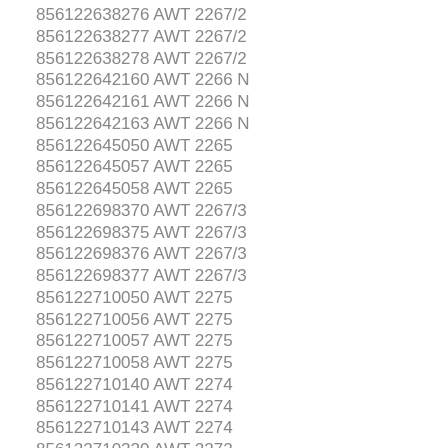856122638276 AWT 2267/2
856122638277 AWT 2267/2
856122638278 AWT 2267/2
856122642160 AWT 2266 N
856122642161 AWT 2266 N
856122642163 AWT 2266 N
856122645050 AWT 2265
856122645057 AWT 2265
856122645058 AWT 2265
856122698370 AWT 2267/3
856122698375 AWT 2267/3
856122698376 AWT 2267/3
856122698377 AWT 2267/3
856122710050 AWT 2275
856122710056 AWT 2275
856122710057 AWT 2275
856122710058 AWT 2275
856122710140 AWT 2274
856122710141 AWT 2274
856122710143 AWT 2274
856122710220 AWT 2272
856122710223 AWT 2272
856122710240 AWT 2274/1